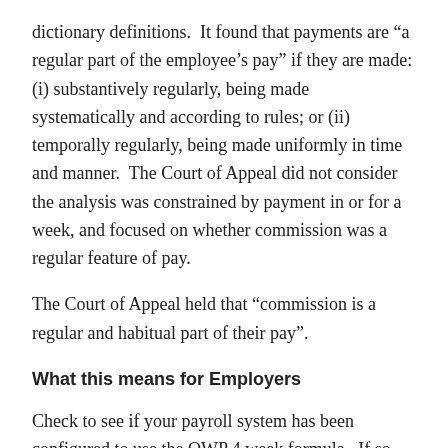dictionary definitions.  It found that payments are “a regular part of the employee’s pay” if they are made: (i) substantively regularly, being made systematically and according to rules; or (ii) temporally regularly, being made uniformly in time and manner.  The Court of Appeal did not consider the analysis was constrained by payment in or for a week, and focused on whether commission was a regular feature of pay.
The Court of Appeal held that “commission is a regular and habitual part of their pay”.
What this means for Employers
Check to see if your payroll system has been configured to use the OWP 4 week formula.  If so, do you need to use the 4 week formula or can ordinary weekly pay be